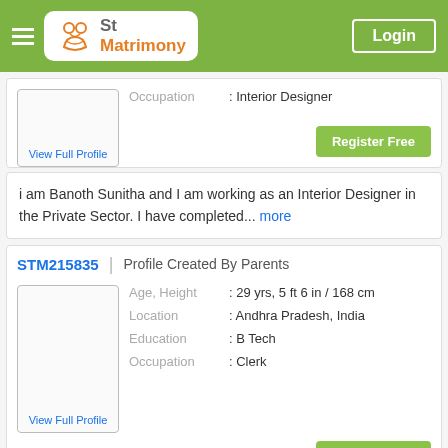St Matrimony | Login
Occupation : Interior Designer
View Full Profile
Register Free
i am Banoth Sunitha and I am working as an Interior Designer in the Private Sector. I have completed... more
STM215835 | Profile Created By Parents
Age, Height : 29 yrs, 5 ft 6 in / 168 cm
Location : Andhra Pradesh, India
Education : B Tech
Occupation : Clerk
View Full Profile
Register Free
My name is Chandini and I am work as a Clerk in SBI. I have completed my B.Tech.. I have been raised... more